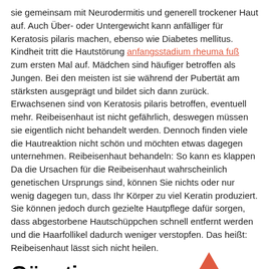sie gemeinsam mit Neurodermitis und generell trockener Haut auf. Auch Über- oder Untergewicht kann anfälliger für Keratosis pilaris machen, ebenso wie Diabetes mellitus. Kindheit tritt die Hautstörung anfangsstadium rheuma fuß zum ersten Mal auf. Mädchen sind häufiger betroffen als Jungen. Bei den meisten ist sie während der Pubertät am stärksten ausgeprägt und bildet sich dann zurück. Erwachsenen sind von Keratosis pilaris betroffen, eventuell mehr. Reibeisenhaut ist nicht gefährlich, deswegen müssen sie eigentlich nicht behandelt werden. Dennoch finden viele die Hautreaktion nicht schön und möchten etwas dagegen unternehmen. Reibeisenhaut behandeln: So kann es klappen Da die Ursachen für die Reibeisenhaut wahrscheinlich genetischen Ursprungs sind, können Sie nichts oder nur wenig dagegen tun, dass Ihr Körper zu viel Keratin produziert. Sie können jedoch durch gezielte Hautpflege dafür sorgen, dass abgestorbene Hautschüppchen schnell entfernt werden und die Haarfollikel dadurch weniger verstopfen. Das heißt: Reibeisenhaut lässt sich nicht heilen.
Günstiges abnehmprogramm
Doch durch regelmäßige Pflege können Sie die Symptome abmildern.